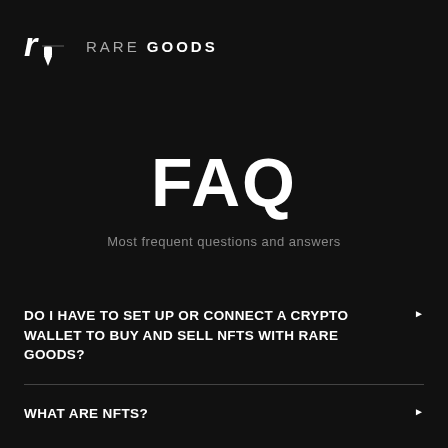RARE GOODS
FAQ
Most frequent questions and answers
DO I HAVE TO SET UP OR CONNECT A CRYPTO WALLET TO BUY AND SELL NFTS WITH RARE GOODS?
WHAT ARE NFTS?